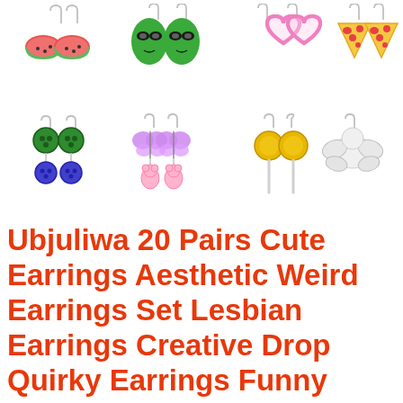[Figure (photo): Product image showing 8 pairs of novelty earrings arranged in a 4x2 grid on white background. Row 1: watermelon slice earrings, alien face earrings, pink glitter heart earrings, pizza slice earrings. Row 2: green and blue button/coin earrings, purple butterfly with pink gummy bear earrings, yellow lollipop earrings, white angel/cherub earrings.]
Ubjuliwa 20 Pairs Cute Earrings Aesthetic Weird Earrings Set Lesbian Earrings Creative Drop Quirky Earrings Funny Cool Y2k Earring Set Cute Dangle Earrings for...